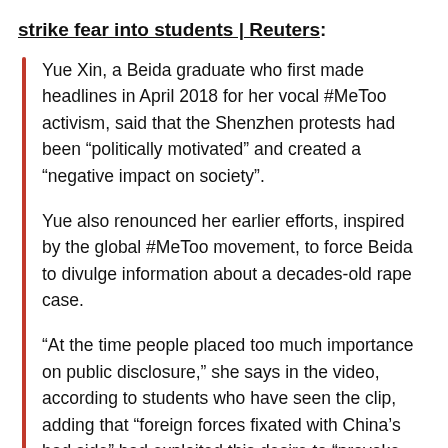strike fear into students | Reuters:
Yue Xin, a Beida graduate who first made headlines in April 2018 for her vocal #MeToo activism, said that the Shenzhen protests had been “politically motivated” and created a “negative impact on society”.
Yue also renounced her earlier efforts, inspired by the global #MeToo movement, to force Beida to divulge information about a decades-old rape case.
“At the time people placed too much importance on public disclosure,” she says in the video, according to students who have seen the clip, adding that “foreign forces fixated with China’s bad side” had exploited this desire to “provoke troubles”.